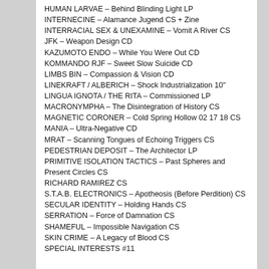HUMAN LARVAE – Behind Blinding Light LP
INTERNECINE – Alamance Jugend CS + Zine
INTERRACIAL SEX & UNEXAMINE – Vomit A River CS
JFK – Weapon Design CD
KAZUMOTO ENDO – While You Were Out CD
KOMMANDO RJF – Sweet Slow Suicide CD
LIMBS BIN – Compassion & Vision CD
LINEKRAFT / ALBERICH – Shock Industrialization 10"
LINGUA IGNOTA / THE RITA – Commissioned LP
MACRONYMPHA – The Disintegration of History CS
MAGNETIC CORONER – Cold Spring Hollow 02 17 18 CS
MANIA – Ultra-Negative CD
MRAT – Scanning Tongues of Echoing Triggers CS
PEDESTRIAN DEPOSIT – The Architector LP
PRIMITIVE ISOLATION TACTICS – Past Spheres and Present Circles CS
RICHARD RAMIREZ CS
S.T.A.B. ELECTRONICS – Apotheosis (Before Perdition) CS
SECULAR IDENTITY – Holding Hands CS
SERRATION – Force of Damnation CS
SHAMEFUL – Impossible Navigation CS
SKIN CRIME – A Legacy of Blood CS
SPECIAL INTERESTS #11